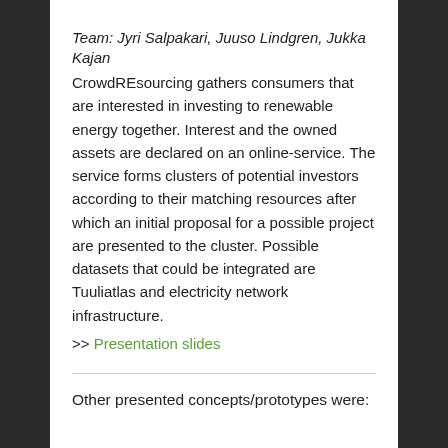Team: Jyri Salpakari, Juuso Lindgren, Jukka Kajan
CrowdREsourcing gathers consumers that are interested in investing to renewable energy together. Interest and the owned assets are declared on an online-service. The service forms clusters of potential investors according to their matching resources after which an initial proposal for a possible project are presented to the cluster. Possible datasets that could be integrated are Tuuliatlas and electricity network infrastructure.
>> Presentation slides
Other presented concepts/prototypes were: